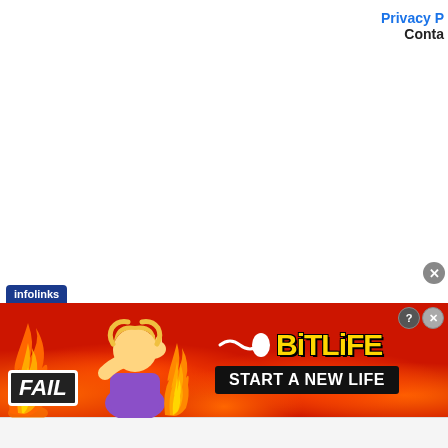Privacy P
Conta
[Figure (screenshot): Infolinks advertisement banner for BitLife game. Red fiery background with 'FAIL' text label on the left, cartoon character covering face, flame graphic, sperm icon, 'BitLife' yellow text, and 'START A NEW LIFE' black button on the right.]